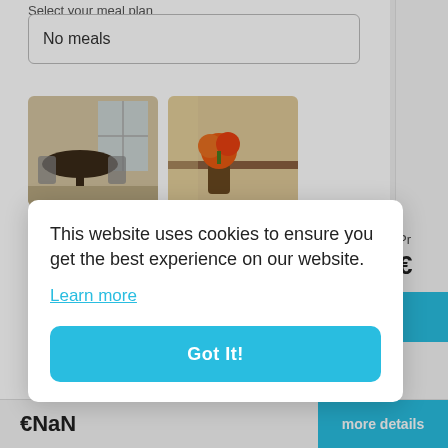Select your meal plan
No meals
[Figure (photo): Photo of a dining area with round table and chairs, window in background]
[Figure (photo): Photo of a bedside table with an orange flower arrangement]
Price for 1 week
€182.00
This website uses cookies to ensure you get the best experience on our website.
Learn more
Got It!
€NaN
more details